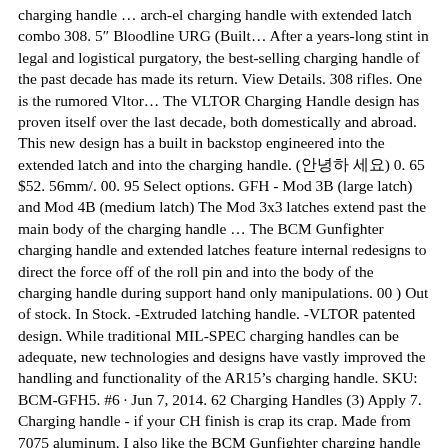charging handle … arch-el charging handle with extended latch combo 308. 5″ Bloodline URG (Built… After a years-long stint in legal and logistical purgatory, the best-selling charging handle of the past decade has made its return. View Details. 308 rifles. One is the rumored Vltor… The VLTOR Charging Handle design has proven itself over the last decade, both domestically and abroad. This new design has a built in backstop engineered into the extended latch and into the charging handle. (한국어 日本語) 0. 65 $52. 56mm/. 00. 95 Select options. GFH - Mod 3B (large latch) and Mod 4B (medium latch) The Mod 3x3 latches extend past the main body of the charging handle … The BCM Gunfighter charging handle and extended latches feature internal redesigns to direct the force off of the roll pin and into the body of the charging handle during support hand only manipulations. 00 ) Out of stock. In Stock. -Extruded latching handle. -VLTOR patented design. While traditional MIL-SPEC charging handles can be adequate, new technologies and designs have vastly improved the handling and functionality of the AR15's charging handle. SKU: BCM-GFH5. #6 · Jun 7, 2014. 62 Charging Handles (3) Apply 7. Charging handle - if your CH finish is crap its crap. Made from 7075 aluminum. I also like the BCM Gunfighter charging handle and have two of the … In stock. 56 … VLTOR Mod 3 AR-15 Charging Handle – Large Latch. View All Shop Services; Assembly-Diasassembly Services; AWB Compliance Mods; Barrel Crowning; BCM Mod 4BM Charging Handle. Add to cart Add to